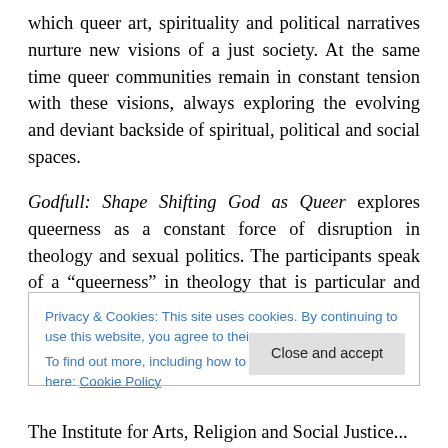which queer art, spirituality and political narratives nurture new visions of a just society. At the same time queer communities remain in constant tension with these visions, always exploring the evolving and deviant backside of spiritual, political and social spaces.
Godfull: Shape Shifting God as Queer explores queerness as a constant force of disruption in theology and sexual politics. The participants speak of a “queerness” in theology that is particular and explicit of the queer body, a “queerness” that represents a constant pursuit of new
Privacy & Cookies: This site uses cookies. By continuing to use this website, you agree to their use.
To find out more, including how to control cookies, see here: Cookie Policy
Close and accept
The Institute for Arts, Religion and Social Justice...